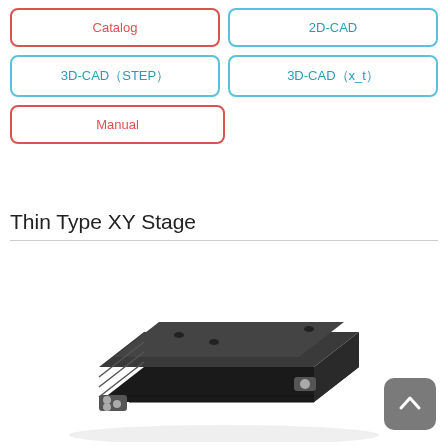Catalog
2D-CAD
3D-CAD（STEP）
3D-CAD（x_t）
Manual
Thin Type XY Stage
[Figure (photo): Photograph of a thin type XY stage — a flat black anodized aluminum precision mechanical stage with mounting holes and adjustment knobs/screws visible on the front and right side.]